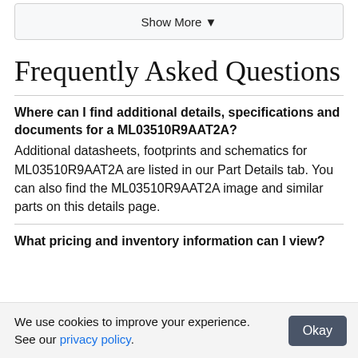[Figure (other): Show More collapsible button with dropdown arrow]
Frequently Asked Questions
Where can I find additional details, specifications and documents for a ML03510R9AAT2A?
Additional datasheets, footprints and schematics for ML03510R9AAT2A are listed in our Part Details tab. You can also find the ML03510R9AAT2A image and similar parts on this details page.
What pricing and inventory information can I view?
We use cookies to improve your experience. See our privacy policy.